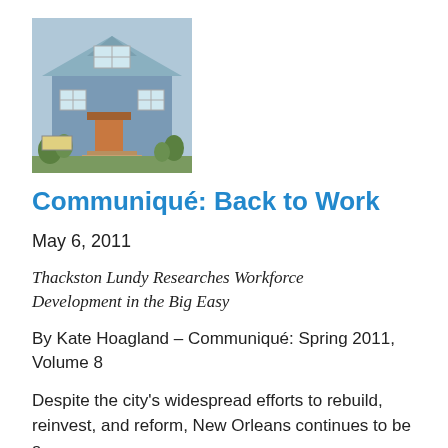[Figure (photo): Photo of a blue residential house with a porch, plants and signage in front, taken outdoors.]
Communiqué: Back to Work
May 6, 2011
Thackston Lundy Researches Workforce Development in the Big Easy
By Kate Hoagland – Communiqué: Spring 2011, Volume 8
Despite the city's widespread efforts to rebuild, reinvest, and reform, New Orleans continues to be a